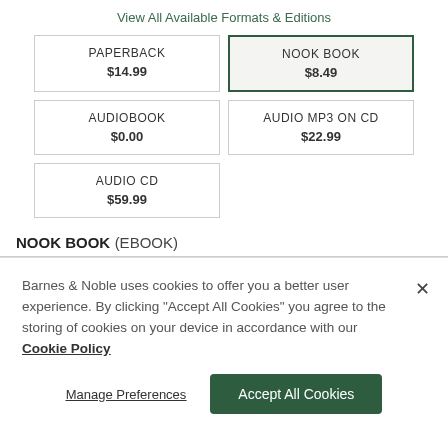View All Available Formats & Editions
| PAPERBACK
$14.99 | NOOK BOOK
$8.49 |
| AUDIOBOOK
$0.00 | AUDIO MP3 ON CD
$22.99 |
| AUDIO CD
$59.99 |  |
NOOK BOOK (EBOOK)
Barnes & Noble uses cookies to offer you a better user experience. By clicking "Accept All Cookies" you agree to the storing of cookies on your device in accordance with our Cookie Policy
Manage Preferences
Accept All Cookies